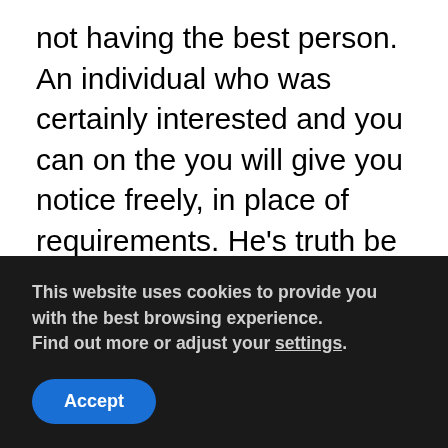not having the best person. An individual who was certainly interested and you can on the you will give you notice freely, in place of requirements. He's truth be told there as they wish to be truth be told there, perhaps not due to whatever they will get away from you. Whether it is your physical interest, gender, sexual chemistry, otherwise the determination to please their most of the notice, it's never a reasonable foundation to own proper relationship. Check your role to own harmony. Would it be primarily throughout the intercourse and you will physical destination, or perhaps is indeed there an excellent balance between all basic pieces that make up a healthy
This website uses cookies to provide you with the best browsing experience.
Find out more or adjust your settings.
Accept